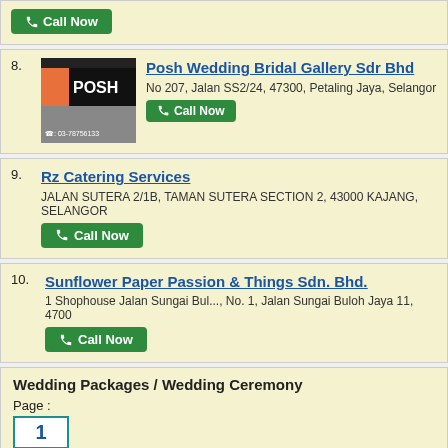Call Now (top card button)
8. Posh Wedding Bridal Gallery Sdr Bhd
No 207, Jalan SS2/24, 47300, Petaling Jaya, Selangor
Call Now
9. Rz Catering Services
JALAN SUTERA 2/1B, TAMAN SUTERA SECTION 2, 43000 KAJANG, SELANGOR
Call Now
10. Sunflower Paper Passion & Things Sdn. Bhd.
1 Shophouse Jalan Sungai Bul..., No. 1, Jalan Sungai Buloh Jaya 11, 4700
Call Now
Wedding Packages / Wedding Ceremony
Page :
1